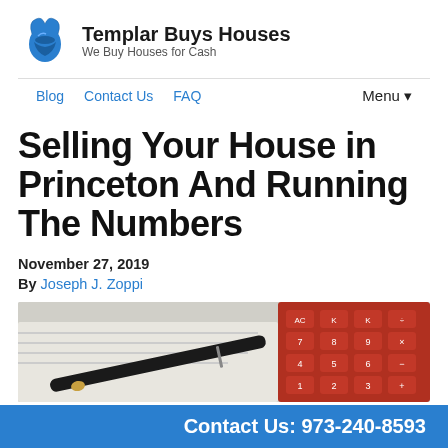Templar Buys Houses — We Buy Houses for Cash
Blog  Contact Us  FAQ  Menu▼
Selling Your House in Princeton And Running The Numbers
November 27, 2019
By Joseph J. Zoppi
[Figure (photo): Close-up of a black pen resting on documents with a red calculator keyboard in the background]
Contact Us: 973-240-8593